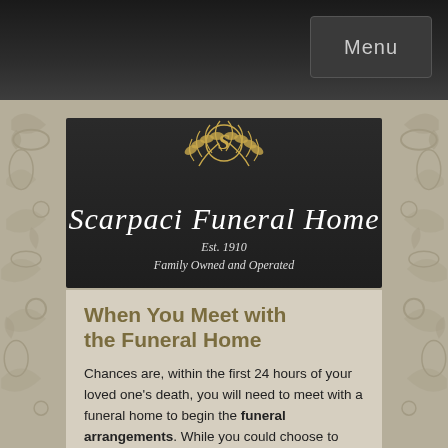Menu
[Figure (logo): Scarpaci Funeral Home logo with ornate S emblem surrounded by laurel wreath, white script text reading 'Scarpaci Funeral Home', Est. 1910, Family Owned and Operated, on dark background]
When You Meet with the Funeral Home
Chances are, within the first 24 hours of your loved one's death, you will need to meet with a funeral home to begin the funeral arrangements. While you could choose to meet with us, you could also decide to meet